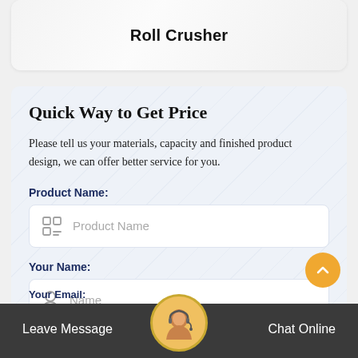Roll Crusher
Quick Way to Get Price
Please tell us your materials, capacity and finished product design, we can offer better service for you.
Product Name:
Product Name
Your Name:
Name
Your Email:
Leave Message
Chat Online